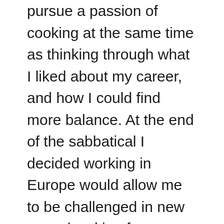pursue a passion of cooking at the same time as thinking through what I liked about my career, and how I could find more balance. At the end of the sabbatical I decided working in Europe would allow me to be challenged in new ways (working for new partners, and in a new market) and, yet benefit from the European work style which allowed for more (real) vacation. In addition, I was able to explore Europe throughout my time there—travel being another passion of mine. When I returned to the US, I was able to leverage the work hard/play hard approach from working in Europe.  The US